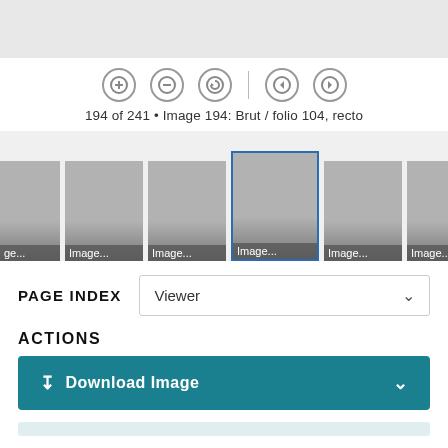[Figure (screenshot): Top gray header bar of a document viewer interface]
[Figure (screenshot): Viewer navigation controls: zoom in (+), zoom out (-), rotate, separator, left arrow, right arrow buttons in circular outlines]
194 of 241 • Image 194: Brut / folio 104, recto
[Figure (screenshot): Thumbnail strip showing multiple gray page thumbnails. The center thumbnail is highlighted with a blue border. Each thumbnail has an 'Image...' label at the bottom.]
PAGE INDEX
Viewer
ACTIONS
Download Image